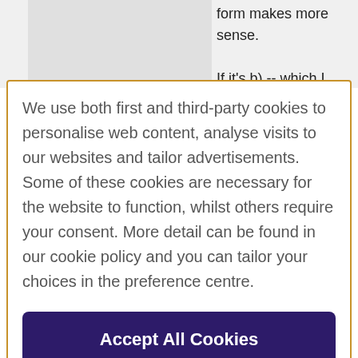form makes more sense.

If it's b) -- which I think is what
We use both first and third-party cookies to personalise web content, analyse visits to our websites and tailor advertisements. Some of these cookies are necessary for the website to function, whilst others require your consent. More detail can be found in our cookie policy and you can tailor your choices in the preference centre.
Accept All Cookies
Cookies Settings